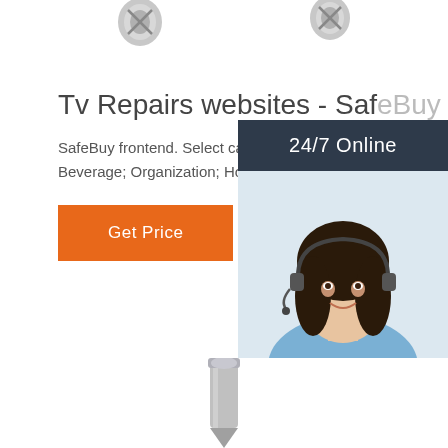[Figure (illustration): Metal screws/bolts visible at top of page on white background]
Tv Repairs websites - SafeBuy
SafeBuy frontend. Select category retailer; Food & Beverage; Organization; Home & Garden
[Figure (infographic): Customer service panel with dark navy background. Top bar: '24/7 Online'. Center: photo of smiling woman with headset wearing blue shirt. Bottom dark bar with italic text 'Click here for free chat!' and orange button labeled 'QUOTATION']
Get Price
[Figure (photo): Metal screw/bolt at bottom center of page on white background]